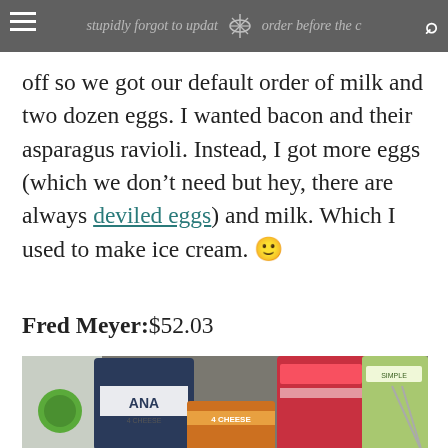...stupidly forgot to update my order before the cutoff so we got our default order of milk and two dozen eggs. [partial header bar with hamburger menu, whisk logo, search icon]
off so we got our default order of milk and two dozen eggs. I wanted bacon and their asparagus ravioli. Instead, I got more eggs (which we don’t need but hey, there are always deviled eggs) and milk. Which I used to make ice cream. 🙂
Fred Meyer: $52.03
[Figure (photo): Photo of grocery bags and packaged food items in a shopping cart or bag, including what appears to be broccoli, pasta (ANA brand), cheese product, and other packaged goods. Photo partially cut off at bottom showing lighter/blurred area.]